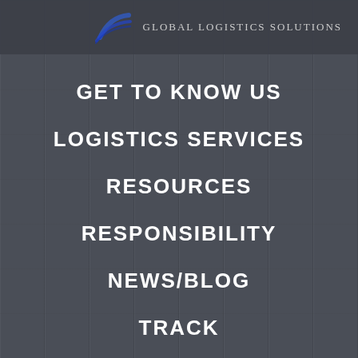Global Logistics Solutions
GET TO KNOW US
LOGISTICS SERVICES
RESOURCES
RESPONSIBILITY
NEWS/BLOG
TRACK
CONTACT